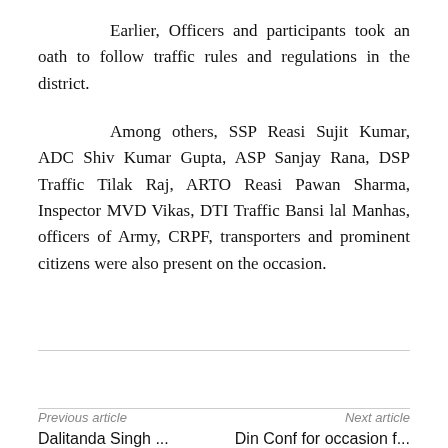Earlier, Officers and participants took an oath to follow traffic rules and regulations in the district.
Among others, SSP Reasi Sujit Kumar, ADC Shiv Kumar Gupta, ASP Sanjay Rana, DSP Traffic Tilak Raj, ARTO Reasi Pawan Sharma, Inspector MVD Vikas, DTI Traffic Bansi lal Manhas, officers of Army, CRPF, transporters and prominent citizens were also present on the occasion.
Previous article | Next article